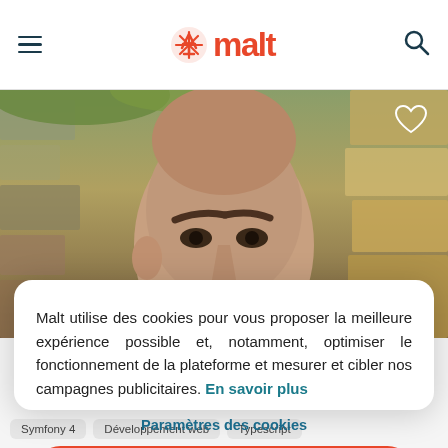malt
[Figure (photo): Close-up photo of a young man's face against a stone/rock background with vegetation]
Malt utilise des cookies pour vous proposer la meilleure expérience possible et, notamment, optimiser le fonctionnement de la plateforme et mesurer et cibler nos campagnes publicitaires. En savoir plus
Paramètres des cookies
Tout autoriser
Symfony 4
Développement web
Typescript